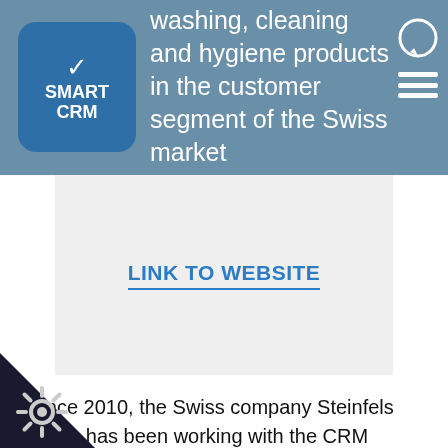washing, cleaning and hygiene products in the customer segment of the Swiss market
LINK TO WEBSITE
Since 2010, the Swiss company Steinfels Swiss has been working with the CRM software SMARTCRM. Given that the previous CRM software was not executable on Windows 7, the decision has been taken to introduce a new CRM software. SMARTCRM scored with competent advice